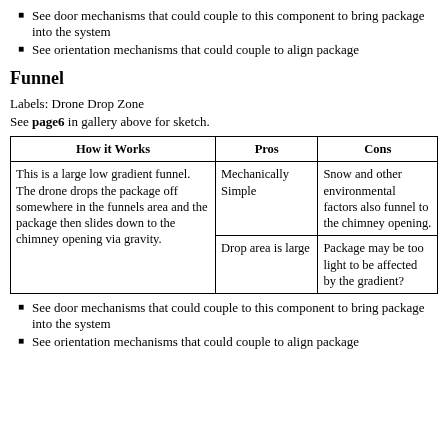See door mechanisms that could couple to this component to bring package into the system
See orientation mechanisms that could couple to align package
Funnel
Labels: Drone Drop Zone
See page6 in gallery above for sketch.
| How it Works | Pros | Cons |
| --- | --- | --- |
| This is a large low gradient funnel. The drone drops the package off somewhere in the funnels area and the package then slides down to the chimney opening via gravity. | Mechanically Simple | Snow and other environmental factors also funnel to the chimney opening. |
|  | Drop area is large | Package may be too light to be affected by the gradient? |
See door mechanisms that could couple to this component to bring package into the system
See orientation mechanisms that could couple to align package